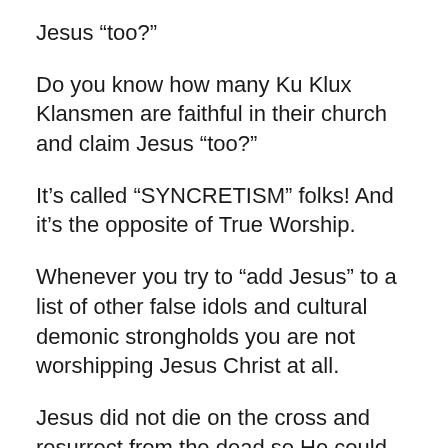Jesus “too?”
Do you know how many Ku Klux Klansmen are faithful in their church and claim Jesus “too?”
It’s called “SYNCRETISM” folks! And it’s the opposite of True Worship.
Whenever you try to “add Jesus” to a list of other false idols and cultural demonic strongholds you are not worshipping Jesus Christ at all.
Jesus did not die on the cross and resurrect from the dead so He could be the last option on your iPod, or be added to your list of authentic hip hop alternatives. He’s not interested in syncretizing with you Greek Idol or Masonic covenants either. If you can’t get rid of the false you are not in the Truth. He is the King of All.